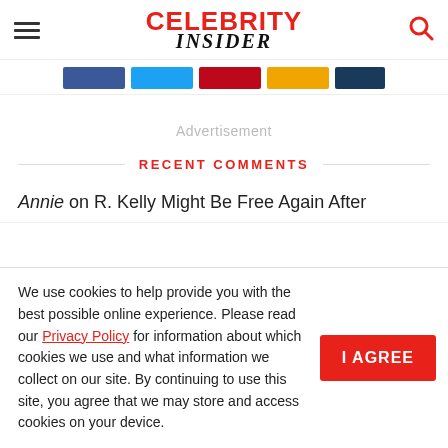CELEBRITY INSIDER
[Figure (other): Social share buttons: Facebook, Twitter, Pinterest, Google+, LinkedIn]
Advertisement
RECENT COMMENTS
Annie on R. Kelly Might Be Free Again After
We use cookies to help provide you with the best possible online experience. Please read our Privacy Policy for information about which cookies we use and what information we collect on our site. By continuing to use this site, you agree that we may store and access cookies on your device.